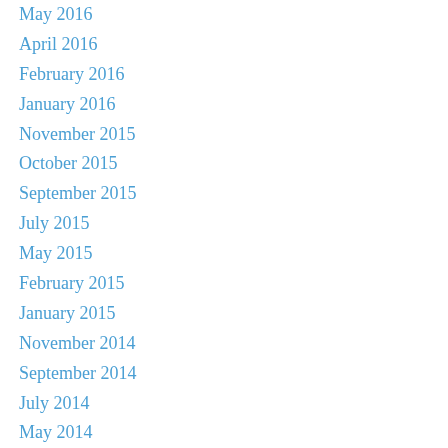May 2016
April 2016
February 2016
January 2016
November 2015
October 2015
September 2015
July 2015
May 2015
February 2015
January 2015
November 2014
September 2014
July 2014
May 2014
March 2014
January 2014
December 2013
November 2013
October 2013